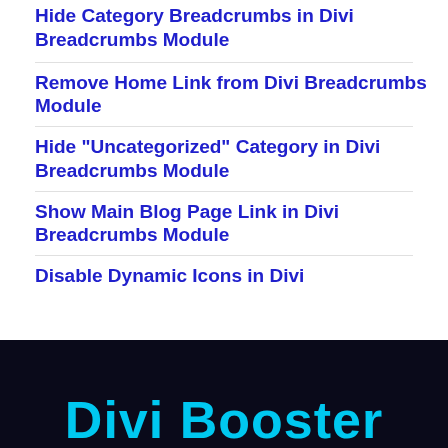Hide Category Breadcrumbs in Divi Breadcrumbs Module
Remove Home Link from Divi Breadcrumbs Module
Hide "Uncategorized" Category in Divi Breadcrumbs Module
Show Main Blog Page Link in Divi Breadcrumbs Module
Disable Dynamic Icons in Divi
[Figure (logo): Divi Booster logo text in cyan/blue on dark background, partially visible at bottom of page]